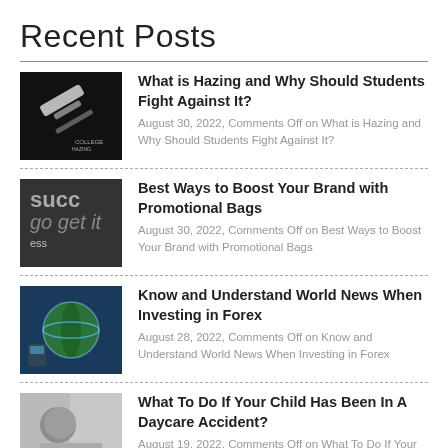Recent Posts
What is Hazing and Why Should Students Fight Against It? — August 30, 2022, Comments Off on What is Hazing and Why Should Students Fight Against It?
Best Ways to Boost Your Brand with Promotional Bags — August 30, 2022, Comments Off on Best Ways to Boost Your Brand with Promotional Bags
Know and Understand World News When Investing in Forex — August 28, 2022, Comments Off on Know and Understand World News When Investing in Forex
What To Do If Your Child Has Been In A Daycare Accident? — August 19, 2022, Comments Off on What To Do If Your Child Has Been In A Daycare Accident?